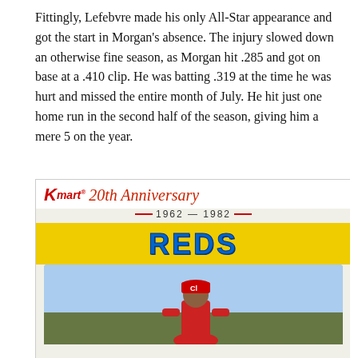Fittingly, Lefebvre made his only All-Star appearance and got the start in Morgan's absence. The injury slowed down an otherwise fine season, as Morgan hit .285 and got on base at a .410 clip. He was batting .319 at the time he was hurt and missed the entire month of July. He hit just one home run in the second half of the season, giving him a mere 5 on the year.
[Figure (photo): Kmart 20th Anniversary (1962-1982) Cincinnati Reds baseball card showing a player wearing a Cincinnati Reds cap with 'CI' logo, with a yellow card background and blue 'REDS' text.]